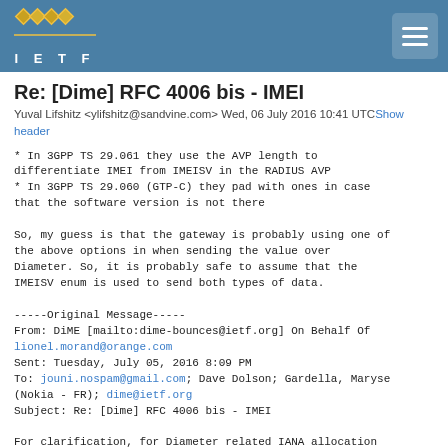IETF
Re: [Dime] RFC 4006 bis - IMEI
Yuval Lifshitz <ylifshitz@sandvine.com> Wed, 06 July 2016 10:41 UTCShow header
* In 3GPP TS 29.061 they use the AVP length to differentiate IMEI from IMEISV in the RADIUS AVP
* In 3GPP TS 29.060 (GTP-C) they pad with ones in case that the software version is not there

So, my guess is that the gateway is probably using one of the above options in when sending the value over Diameter. So, it is probably safe to assume that the IMEISV enum is used to send both types of data.

-----Original Message-----
From: DiME [mailto:dime-bounces@ietf.org] On Behalf Of lionel.morand@orange.com
Sent: Tuesday, July 05, 2016 8:09 PM
To: jouni.nospam@gmail.com; Dave Dolson; Gardella, Maryse (Nokia - FR); dime@ietf.org
Subject: Re: [Dime] RFC 4006 bis - IMEI

For clarification, for Diameter related IANA allocation